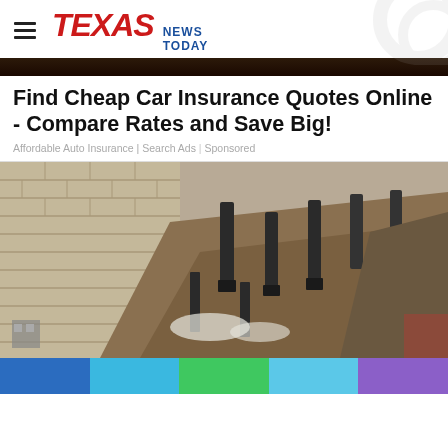TEXAS NEWS TODAY
Find Cheap Car Insurance Quotes Online - Compare Rates and Save Big!
Affordable Auto Insurance | Search Ads | Sponsored
[Figure (photo): Aerial/oblique view of a construction excavation site showing a brick retaining wall, steel foundation piers, and disturbed earth.]
[Figure (other): Colored bar strip at bottom of page: blue, sky blue, green, light blue, purple segments.]